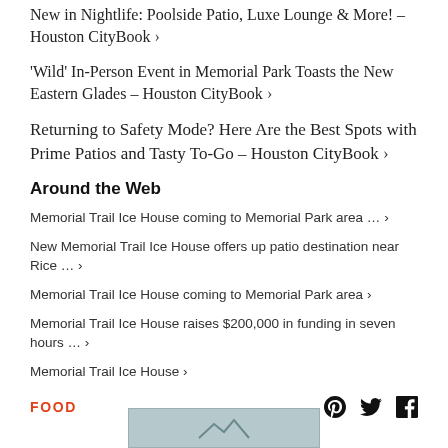New in Nightlife: Poolside Patio, Luxe Lounge & More! – Houston CityBook ›
'Wild' In-Person Event in Memorial Park Toasts the New Eastern Glades – Houston CityBook ›
Returning to Safety Mode? Here Are the Best Spots with Prime Patios and Tasty To-Go – Houston CityBook ›
Around the Web
Memorial Trail Ice House coming to Memorial Park area ... ›
New Memorial Trail Ice House offers up patio destination near Rice ... ›
Memorial Trail Ice House coming to Memorial Park area ›
Memorial Trail Ice House raises $200,000 in funding in seven hours ... ›
Memorial Trail Ice House ›
FOOD
[Figure (photo): Partial image/image strip at bottom of page, appears to be a food or venue photograph with mountain/landscape outline graphic]